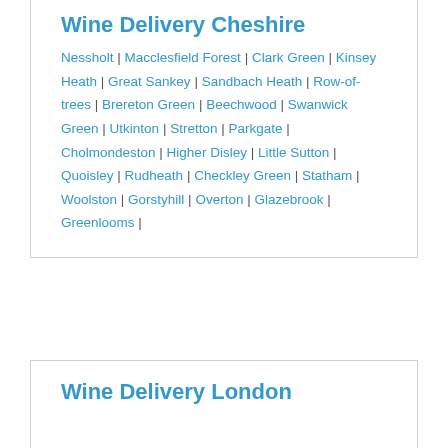Wine Delivery Cheshire
Nessholt | Macclesfield Forest | Clark Green | Kinsey Heath | Great Sankey | Sandbach Heath | Row-of-trees | Brereton Green | Beechwood | Swanwick Green | Utkinton | Stretton | Parkgate | Cholmondeston | Higher Disley | Little Sutton | Quoisley | Rudheath | Checkley Green | Statham | Woolston | Gorstyhill | Overton | Glazebrook | Greenlooms |
Wine Delivery London